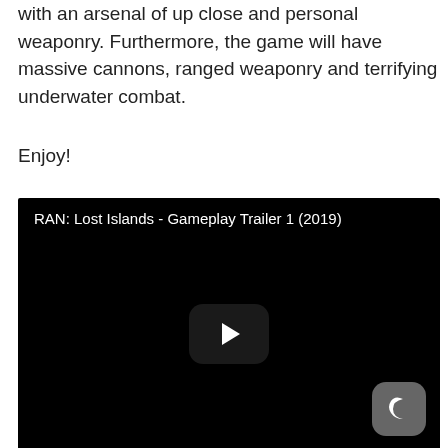with an arsenal of up close and personal weaponry. Furthermore, the game will have massive cannons, ranged weaponry and terrifying underwater combat.
Enjoy!
[Figure (screenshot): Embedded YouTube video player showing 'RAN: Lost Islands - Gameplay Trailer 1 (2019)' with a black background, play button in the center, and a moon/night mode icon in the bottom right corner.]